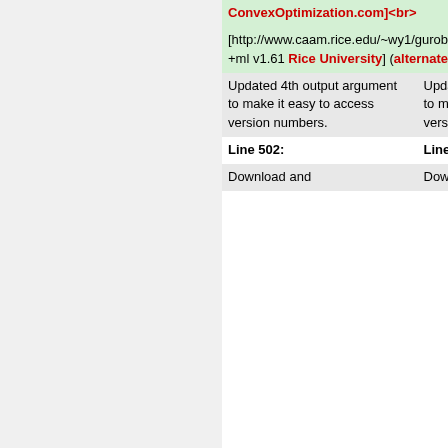| Left column | Right column |
| --- | --- |
| ConvexOptimization.com]<br> | ConvexOptimization.com]<br> |
| [http://www.caam.rice.edu/~wy1/gurobi_mex/download_request.html v1.61 Rice University] (alternate download site) <br> |  |
| Updated 4th output argument to make it easy to access version numbers. | Updated 4th output argument to make it easy to access version numbers. |
| Line 502: | Line 503: |
| Download and | Download and |